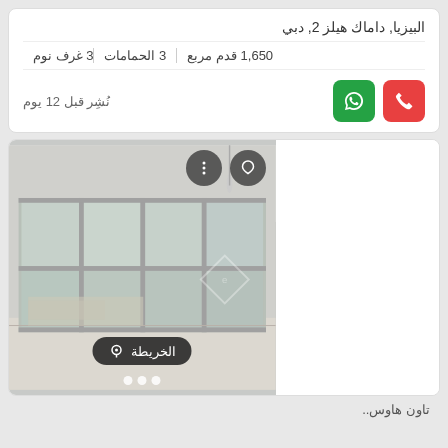البيزيا, داماك هيلز 2, دبي
3 غرف نوم | 3 الحمامات | 1,650 قدم مربع
نُشِر قبل 12 يوم
[Figure (photo): Interior photo of an empty room with large floor-to-ceiling windows showing an exterior view, white ceiling and walls, light floor. Overlays include: three-dots menu button, heart/favorite button, 'الخريطة' (map) button with pin icon, and three dot pagination indicators.]
تاون هاوس..